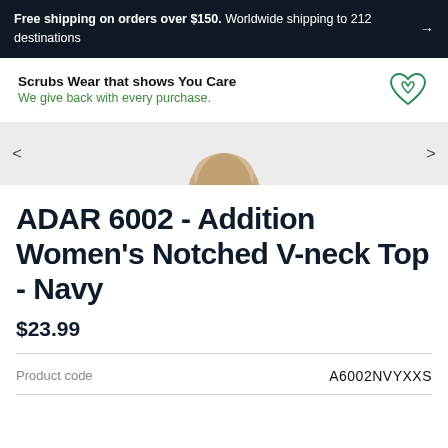Free shipping on orders over $150. Worldwide shipping to 212 destinations →
Scrubs Wear that shows You Care
We give back with every purchase.
[Figure (photo): Top portion of a woman's head (blonde hair) shown from photo slider with left/right navigation arrows on a light gray background.]
ADAR 6002 - Addition Women's Notched V-neck Top - Navy
$23.99
Product code	A6002NVYXXS